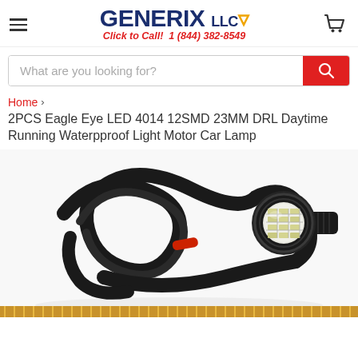GENERIX LLC - Click to Call! 1 (844) 382-8549
What are you looking for?
Home › 2PCS Eagle Eye LED 4014 12SMD 23MM DRL Daytime Running Waterpproof Light Motor Car Lamp
2PCS Eagle Eye LED 4014 12SMD 23MM DRL Daytime Running Waterpproof Light Motor Car Lamp
[Figure (photo): Product photo of two Eagle Eye LED DRL lights with black wiring cables bundled together with a red tie, showing the circular LED lens unit with yellow/white SMD LEDs visible]